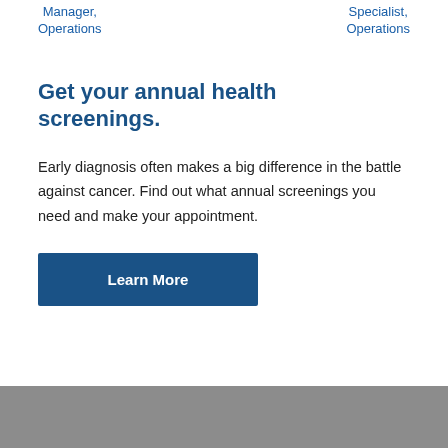Manager, Operations
Specialist, Operations
Get your annual health screenings.
Early diagnosis often makes a big difference in the battle against cancer. Find out what annual screenings you need and make your appointment.
Learn More